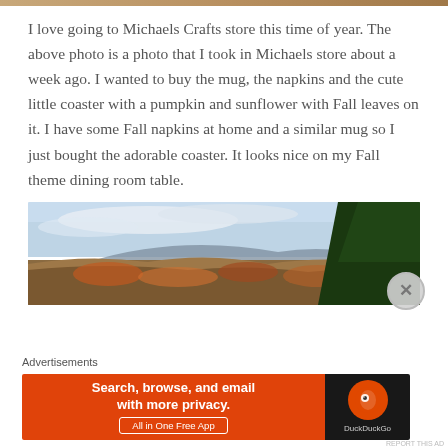[Figure (photo): Top strip of image visible at top edge of page (partial, cropped)]
I love going to Michaels Crafts store this time of year. The above photo is a photo that I took in Michaels store about a week ago. I wanted to buy the mug, the napkins and the cute little coaster with a pumpkin and sunflower with Fall leaves on it. I have some Fall napkins at home and a similar mug so I just bought the adorable coaster. It looks nice on my Fall theme dining room table.
[Figure (photo): Landscape photo showing mountain vista with autumn foliage, blue sky with clouds, and pine trees on the right side]
Advertisements
[Figure (infographic): DuckDuckGo advertisement banner: orange left panel with text 'Search, browse, and email with more privacy. All in One Free App' and dark right panel with DuckDuckGo logo]